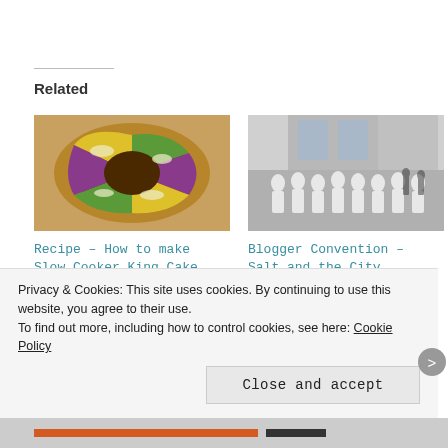Related
[Figure (photo): A colorful layered King Cake viewed from above, showing a round cake with yellow, green, and purple icing swirls]
Recipe – How to make Slow Cooker King Cake
February 9, 2016
In "Food"
[Figure (photo): A large group of people dressed in white chef uniforms standing outside a building]
Blogger Convention – Salt and the City
June 24, 2015
In "Art & Crafts"
Coming Soon – New Incoming Books and...
Privacy & Cookies: This site uses cookies. By continuing to use this website, you agree to their use.
To find out more, including how to control cookies, see here: Cookie Policy
Close and accept